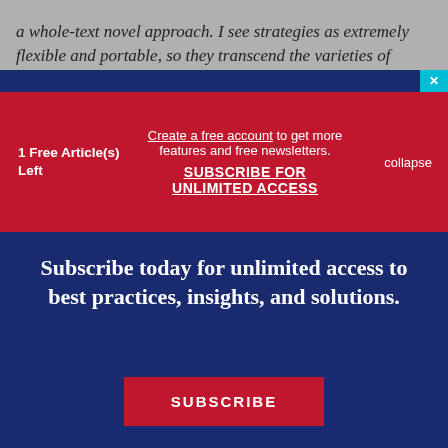a whole-text novel approach. I see strategies as extremely flexible and portable, so they transcend the varieties of
1 Free Article(s) Left
Create a free account to get more features and free newsletters.
SUBSCRIBE FOR UNLIMITED ACCESS
collapse
Subscribe today for unlimited access to best practices, insights, and solutions.
SUBSCRIBE